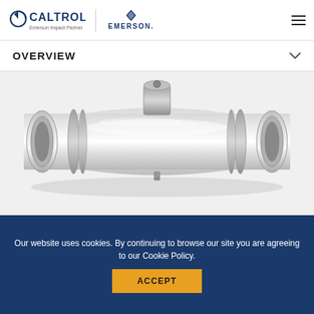CALTROL Emerson Impact Partner | EMERSON
OVERVIEW
[Figure (photo): Stainless steel industrial valve or flow control device, cylindrical body with machined ends and a top-mounted actuation port, shown in a 3D product render on a white background.]
Our website uses cookies. By continuing to browse our site you are agreeing to our Cookie Policy.
ACCEPT